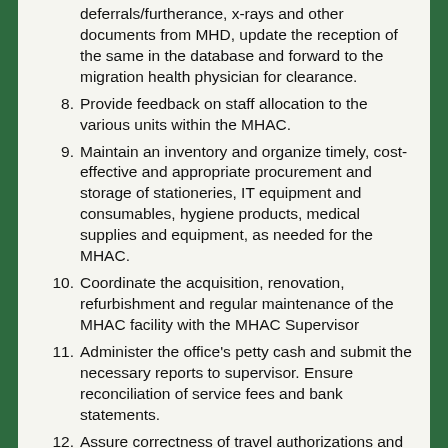Receive all completed medical deferrals/furtherance, x-rays and other documents from MHD, update the reception of the same in the database and forward to the migration health physician for clearance.
8. Provide feedback on staff allocation to the various units within the MHAC.
9. Maintain an inventory and organize timely, cost-effective and appropriate procurement and storage of stationeries, IT equipment and consumables, hygiene products, medical supplies and equipment, as needed for the MHAC.
10. Coordinate the acquisition, renovation, refurbishment and regular maintenance of the MHAC facility with the MHAC Supervisor
11. Administer the office's petty cash and submit the necessary reports to supervisor. Ensure reconciliation of service fees and bank statements.
12. Assure correctness of travel authorizations and advise on allowances for staff members leaving on duty travel.
13. Perform such other duties as may be assigned.